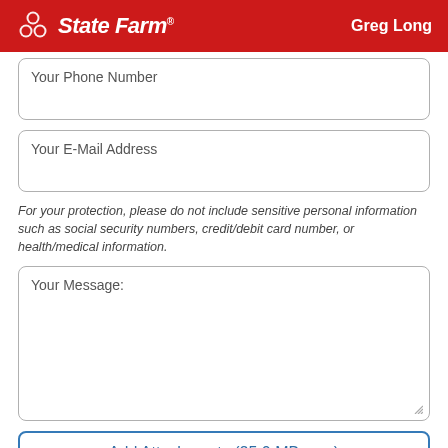State Farm - Greg Long
Your Phone Number
Your E-Mail Address
For your protection, please do not include sensitive personal information such as social security numbers, credit/debit card number, or health/medical information.
Your Message:
Add Attachments (25.0 MB max)